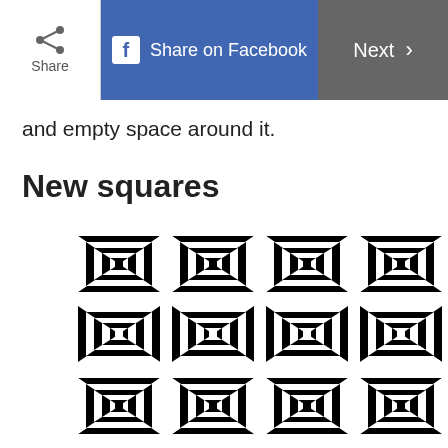Share | Share on Facebook | Next
and empty space around it.
New squares
[Figure (illustration): A 4x3 grid of optical illusion squares, each containing concentric black and white square spirals arranged in a checkerboard 3D illusion pattern]